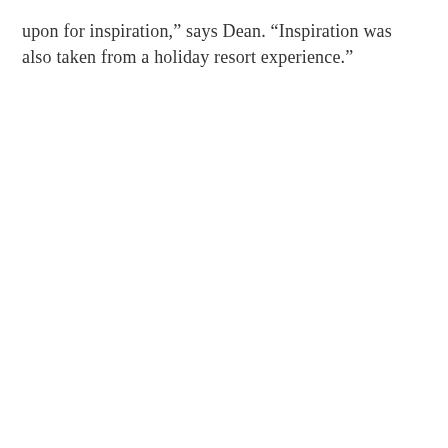upon for inspiration,” says Dean. “Inspiration was also taken from a holiday resort experience.”